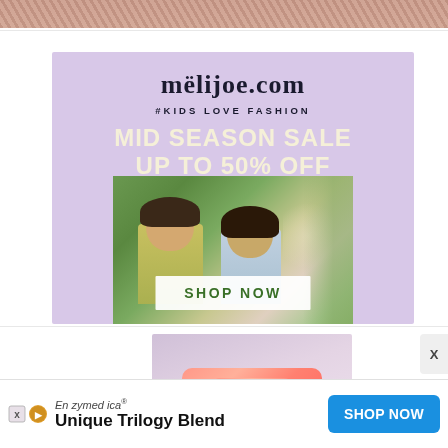[Figure (photo): Top partial image of pink/red floral or textured background, cropped at top of page]
[Figure (infographic): Melijoe.com advertisement banner on lavender/purple background. Shows logo 'melijoe.com', tagline '#KIDS LOVE FASHION', sale text 'MID SEASON SALE UP TO 50% OFF', photo of two children in garden, and 'SHOP NOW' button]
[Figure (photo): Partial view of pink cosmetic pouch/wallet on lavender background, second advertisement]
[Figure (infographic): Bottom advertisement bar for Enzymedica showing 'Enzymedica® Unique Trilogy Blend' with blue 'SHOP NOW' button and ad icons]